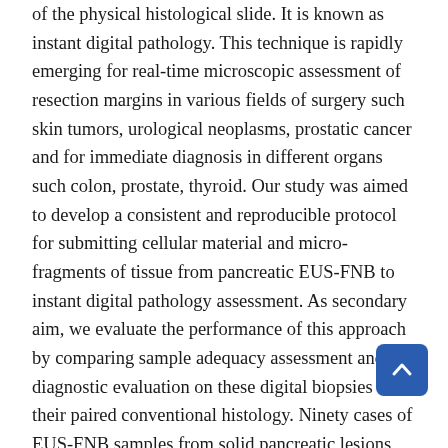of the physical histological slide. It is known as instant digital pathology. This technique is rapidly emerging for real-time microscopic assessment of resection margins in various fields of surgery such skin tumors, urological neoplasms, prostatic cancer and for immediate diagnosis in different organs such colon, prostate, thyroid. Our study was aimed to develop a consistent and reproducible protocol for submitting cellular material and micro-fragments of tissue from pancreatic EUS-FNB to instant digital pathology assessment. As secondary aim, we evaluate the performance of this approach by comparing sample adequacy assessment and diagnostic evaluation on these digital biopsies with their paired conventional histology. Ninety cases of EUS-FNB samples from solid pancreatic lesions were observed from April 2020 to September 2021 at the Fondazione Policlinico Universitario Campus Bio-Medico of Rome. All patients signed the informed consent. The protocol for sample preparation was developed using a polymeric matrix as specimen holder and by modulating the laser power and/or